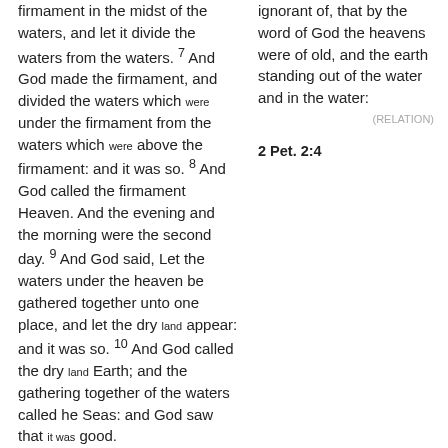firmament in the midst of the waters, and let it divide the waters from the waters. 7 And God made the firmament, and divided the waters which were under the firmament from the waters which were above the firmament: and it was so. 8 And God called the firmament Heaven. And the evening and the morning were the second day. 9 And God said, Let the waters under the heaven be gathered together unto one place, and let the dry land appear: and it was so. 10 And God called the dry land Earth; and the gathering together of the waters called he Seas: and God saw that it was good.
ignorant of, that by the word of God the heavens were of old, and the earth standing out of the water and in the water:
(RELATION)
Gen. 6:1-4
2 Pet. 2:4